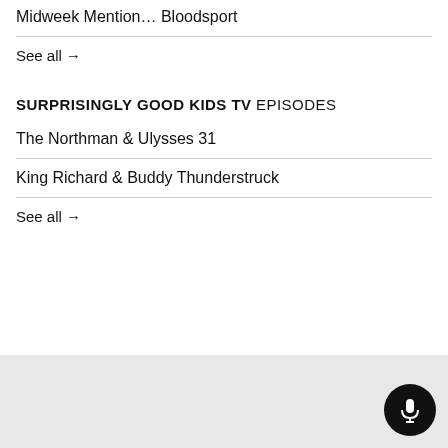Midweek Mention… Bloodsport
See all →
SURPRISINGLY GOOD KIDS TV EPISODES
The Northman & Ulysses 31
King Richard & Buddy Thunderstruck
See all →
[Figure (other): Dark circular microphone button in bottom-right corner of footer area]